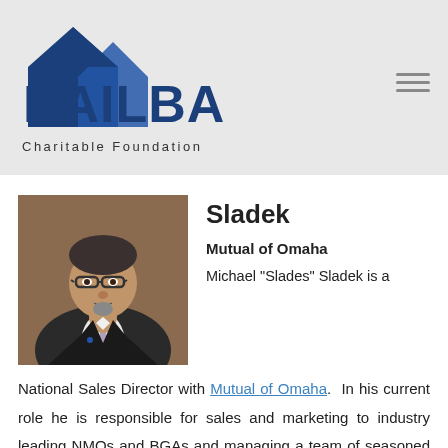[Figure (logo): NAILBA Charitable Foundation logo with blue house/arrow shapes and text]
Sladek
Mutual of Omaha
[Figure (photo): Professional headshot of Michael Sladek, a man in a suit with glasses and a goatee]
Michael “Slades” Sladek is a National Sales Director with Mutual of Omaha.  In his current role he is responsible for sales and marketing to industry leading NMOs and BGAs and managing a team of seasoned sales professionals.  Slades has over 30 years of experience in the financial services